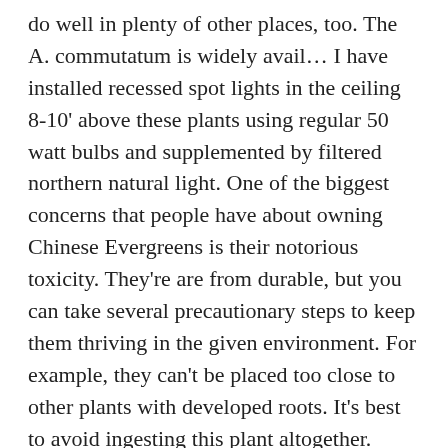do well in plenty of other places, too. The A. commutatum is widely avail… I have installed recessed spot lights in the ceiling 8-10' above these plants using regular 50 watt bulbs and supplemented by filtered northern natural light. One of the biggest concerns that people have about owning Chinese Evergreens is their notorious toxicity. They're are from durable, but you can take several precautionary steps to keep them thriving in the given environment. For example, they can't be placed too close to other plants with developed roots. It's best to avoid ingesting this plant altogether. While it's fun and sometimes more cost effective to Do It Yourself. Is it normal for Chinese Evergreen stems to have these green and brown spots? This gem of a plant is one of the most popular houseplants grown in the home due to its ease of care. They have become some of the most popular